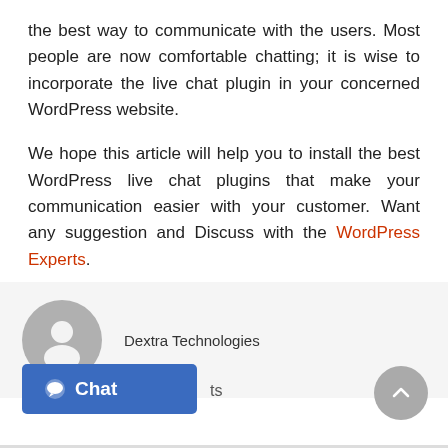the best way to communicate with the users. Most people are now comfortable chatting; it is wise to incorporate the live chat plugin in your concerned WordPress website.
We hope this article will help you to install the best WordPress live chat plugins that make your communication easier with your customer. Want any suggestion and Discuss with the WordPress Experts.
[Figure (illustration): Author avatar: gray circular silhouette of a person, followed by text 'Dextra Technologies']
[Figure (screenshot): Blue 'Chat' button with chat bubble icon at bottom left, and a gray scroll-to-top circular button at bottom right]